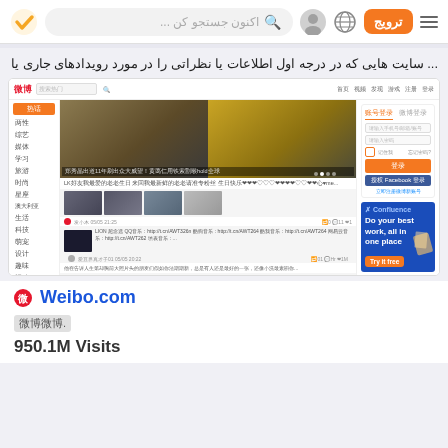Navigation bar with search, icons and ترویج button
... سایت هایی که در درجه اول اطلاعات یا نظراتی را در مورد رویدادهای جاری یا
[Figure (screenshot): Screenshot of Weibo.com website showing news feed with images of two women singers, sidebar navigation in Chinese, login panel, and Confluence advertisement]
Weibo.com
微博微博.
950.1M Visits